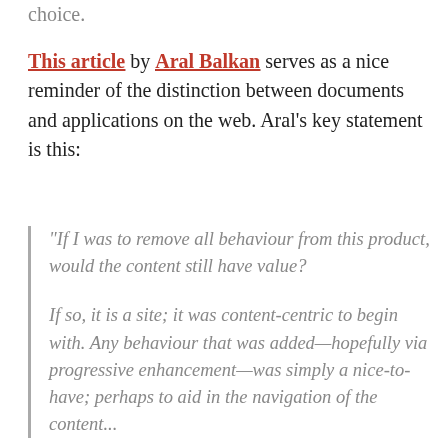choice.
This article by Aral Balkan serves as a nice reminder of the distinction between documents and applications on the web. Aral's key statement is this:
“If I was to remove all behaviour from this product, would the content still have value?

If so, it is a site; it was content-centric to begin with. Any behaviour that was added—hopefully via progressive enhancement—was simply a nice-to-have; perhaps to aid in the navigation of the content...